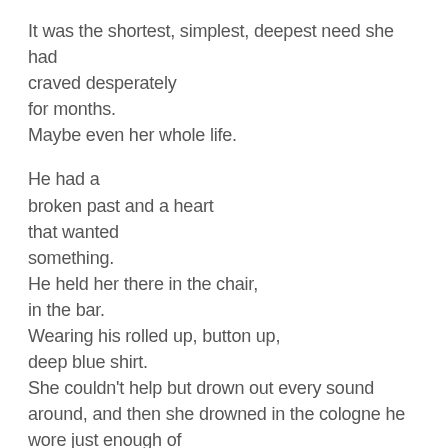It was the shortest, simplest, deepest need she had craved desperately
for months.
Maybe even her whole life.

He had a
broken past and a heart
that wanted
something.
He held her there in the chair,
in the bar.
Wearing his rolled up, button up,
deep blue shirt.
She couldn't help but drown out every sound around, and then she drowned in the cologne he wore just enough of
like it was the sea.